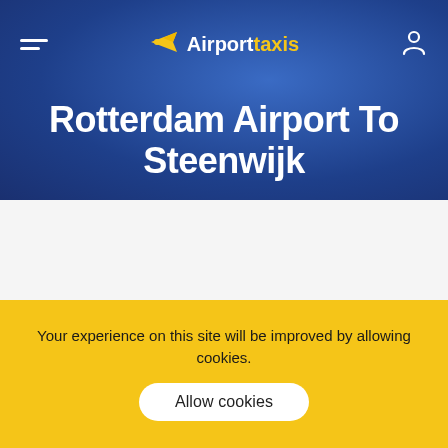Airport taxis
Rotterdam Airport To Steenwijk
[Figure (screenshot): White map area with a small blue dot marker and two yellow/orange circular markers partially visible at the bottom]
Your experience on this site will be improved by allowing cookies.
Allow cookies